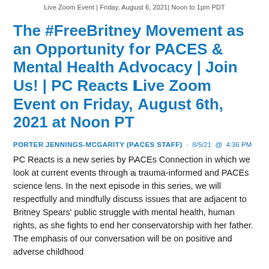Live Zoom Event | Friday, August 6, 2021| Noon to 1pm PDT
The #FreeBritney Movement as an Opportunity for PACES & Mental Health Advocacy | Join Us! | PC Reacts Live Zoom Event on Friday, August 6th, 2021 at Noon PT
PORTER JENNINGS-MCGARITY (PACES STAFF) · 8/5/21  @  4:36 PM
PC Reacts is a new series by PACEs Connection in which we look at current events through a trauma-informed and PACEs science lens. In the next episode in this series, we will respectfully and mindfully discuss issues that are adjacent to Britney Spears' public struggle with mental health, human rights, as she fights to end her conservatorship with her father. The emphasis of our conversation will be on positive and adverse childhood